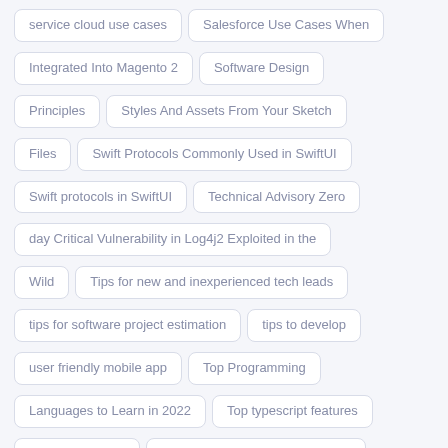service cloud use cases
Salesforce Use Cases When
Integrated Into Magento 2
Software Design
Principles
Styles And Assets From Your Sketch
Files
Swift Protocols Commonly Used in SwiftUI
Swift protocols in SwiftUI
Technical Advisory Zero
day Critical Vulnerability in Log4j2 Exploited in the
Wild
Tips for new and inexperienced tech leads
tips for software project estimation
tips to develop
user friendly mobile app
Top Programming
Languages to Learn in 2022
Top typescript features
released in 2021
Turn Raw Data Into Objects With
the JavaScript Constructor Pattern
UI and UX